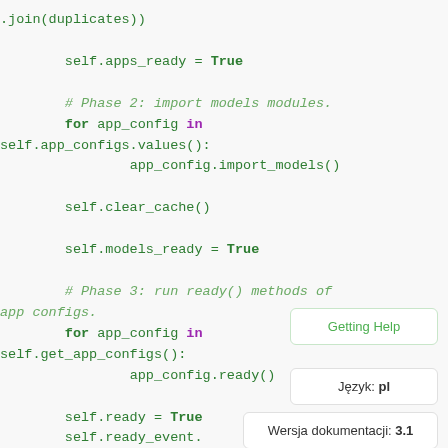[Figure (screenshot): Python source code snippet showing Django app registry populate() method phases, with syntax highlighting: green for identifiers and True, purple/bold for 'for' and 'in' keywords, italic green for comments. Code includes self.apps_ready = True, Phase 2 import models loop, self.clear_cache(), self.models_ready = True, Phase 3 run ready() methods loop, self.ready = True, self.ready_event.]
Getting Help
Język: pl
Wersja dokumentacji: 3.1